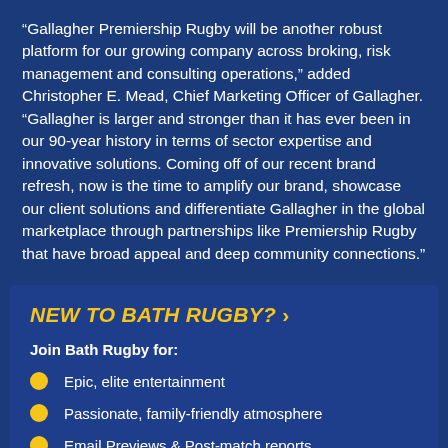“Gallagher Premiership Rugby will be another robust platform for our growing company across broking, risk management and consulting operations,” added Christopher E. Mead, Chief Marketing Officer of Gallagher. “Gallagher is larger and stronger than it has ever been in our 90-year history in terms of sector expertise and innovative solutions. Coming off of our recent brand refresh, now is the time to amplify our brand, showcase our client solutions and differentiate Gallagher in the global marketplace through partnerships like Premiership Rugby that have broad appeal and deep community connections.”
NEW TO BATH RUGBY? >
Join Bath Rugby for:
Epic, elite entertainment
Passionate, family-friendly atmosphere
Email Previews & Post-match reports